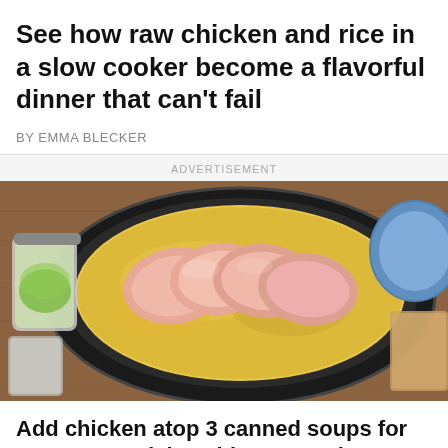See how raw chicken and rice in a slow cooker become a flavorful dinner that can't fail
BY EMMA BLECKER
ADVERTISEMENT
[Figure (photo): Overhead view of raw chicken breasts placed atop creamy yellow sauce in a black slow cooker, with a jar of green ingredients and a blue plate visible on a wooden surface around it.]
Add chicken atop 3 canned soups for an easy yet delectable casserole